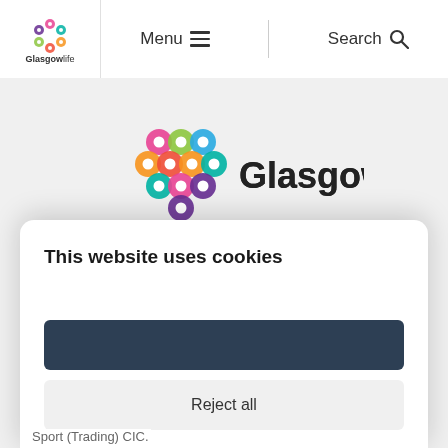[Figure (logo): GlasgowLife logo in header - colorful interlocking circles with GlasgowLife text]
Menu
Search
[Figure (logo): GlasgowLife large center logo - colorful interlocking circles with Glasgow bold and life text]
This website uses cookies
Reject all
Sport (Trading) CIC.